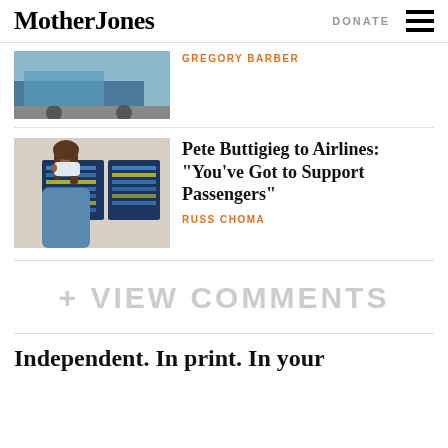Mother Jones | DONATE
[Figure (photo): Partial photo of a bus, cut off at top of page]
GREGORY BARBER
[Figure (photo): Woman wearing a face mask looking at airport arrivals/departures boards]
Pete Buttigieg to Airlines: “You’ve Got to Support Passengers”
RUSS CHOMA
+ VIEW COMMENTS
Independent. In print. In your